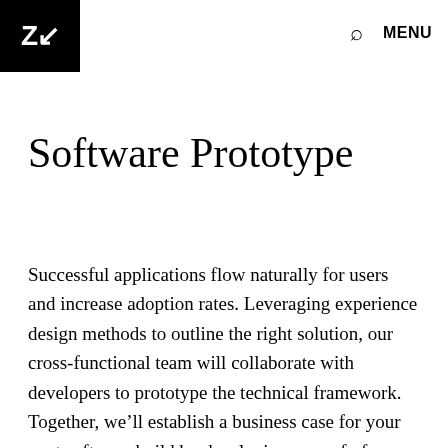ZU  🔍  MENU
Software Prototype
Successful applications flow naturally for users and increase adoption rates. Leveraging experience design methods to outline the right solution, our cross-functional team will collaborate with developers to prototype the technical framework. Together, we'll establish a business case for your next software build by developing a proof of concept that decision makers can touch and feel. All while measuring